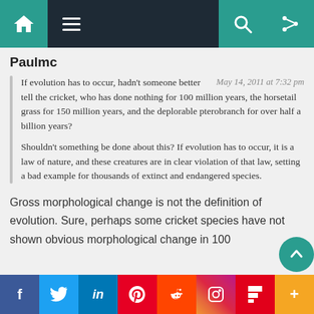Navigation bar with home, menu, search, shuffle icons
Paulmc
If evolution has to occur, hadn't someone better tell the cricket, who has done nothing for 100 million years, the horsetail grass for 150 million years, and the deplorable pterobranch for over half a billion years?

Shouldn't something be done about this? If evolution has to occur, it is a law of nature, and these creatures are in clear violation of that law, setting a bad example for thousands of extinct and endangered species.
Gross morphological change is not the definition of evolution. Sure, perhaps some cricket species have not shown obvious morphological change in 100
f  Twitter  in  Pinterest  Reddit  Instagram  Flipboard  +